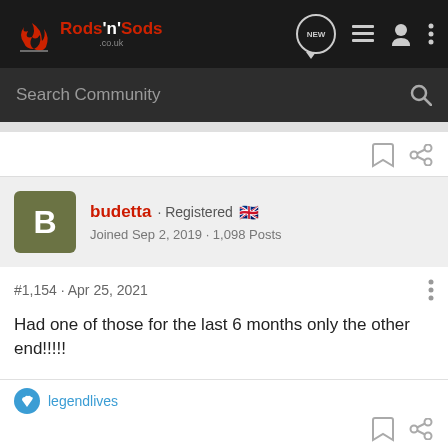Rods 'n' Sods
Search Community
budetta · Registered 🇬🇧
Joined Sep 2, 2019 · 1,098 Posts
#1,154 · Apr 25, 2021
Had one of those for the last 6 months only the other end!!!!!
legendlives